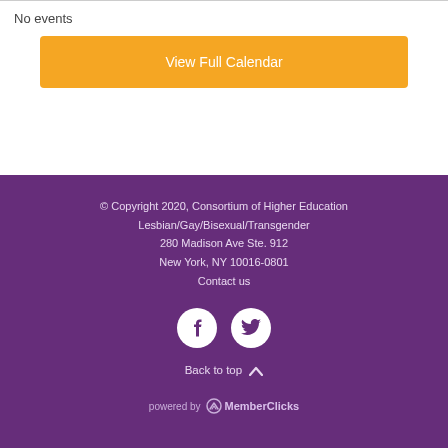No events
View Full Calendar
© Copyright 2020, Consortium of Higher Education
Lesbian/Gay/Bisexual/Transgender
280 Madison Ave Ste. 912
New York, NY 10016-0801
Contact us
[Figure (illustration): Facebook and Twitter social media icons as white circles with white logos on purple background]
Back to top
powered by MemberClicks